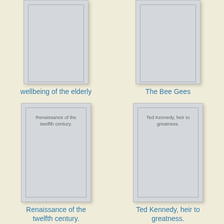[Figure (illustration): Book cover placeholder image (gray rectangle, partially cropped at top) for 'wellbeing of the elderly']
wellbeing of the elderly
[Figure (illustration): Book cover placeholder image (gray rectangle, partially cropped at top) for 'The Bee Gees']
The Bee Gees
[Figure (illustration): Book cover placeholder image (gray rectangle) with text 'Renaissance of the twelfth century.' for 'Renaissance of the twelfth century.']
Renaissance of the twelfth century.
[Figure (illustration): Book cover placeholder image (gray rectangle) with text 'Ted Kennedy, heir to greatness.' for 'Ted Kennedy, heir to greatness.']
Ted Kennedy, heir to greatness.